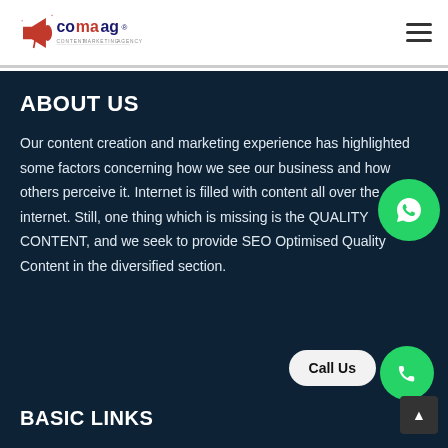[Figure (logo): Comaag content marketing agency logo with megaphone icon and text 'comaag' with registered trademark symbol]
[Figure (other): Hamburger menu icon (three horizontal lines) in top right corner]
ABOUT US
Our content creation and marketing experience has highlighted some factors concerning how we see our business and how others perceive it. Internet is filled with content all over the internet. Still, one thing which is missing is the QUALITY CONTENT, and we seek to provide SEO Optimised Quality Content in the diversified section.
[Figure (other): WhatsApp floating action button - green circle with WhatsApp icon]
[Figure (other): Call Us button - light rounded rectangle with 'Call Us' text, and green phone icon circle]
[Figure (other): Scroll to top button - dark square with upward arrow]
BASIC LINKS